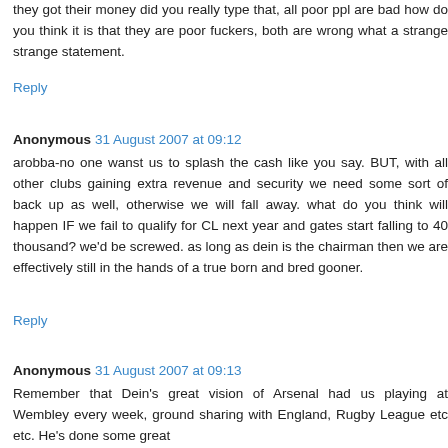they got their money did you really type that, all poor ppl are bad how do you think it is that they are poor fuckers, both are wrong what a strange strange statement.
Reply
Anonymous 31 August 2007 at 09:12
arobba-no one wanst us to splash the cash like you say. BUT, with all other clubs gaining extra revenue and security we need some sort of back up as well, otherwise we will fall away. what do you think will happen IF we fail to qualify for CL next year and gates start falling to 40 thousand? we'd be screwed. as long as dein is the chairman then we are effectively still in the hands of a true born and bred gooner.
Reply
Anonymous 31 August 2007 at 09:13
Remember that Dein's great vision of Arsenal had us playing at Wembley every week, ground sharing with England, Rugby League etc etc. He's done some great